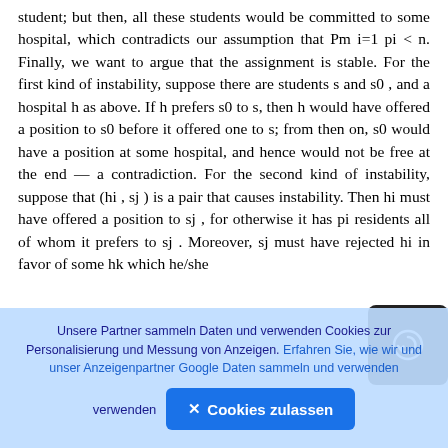student; but then, all these students would be committed to some hospital, which contradicts our assumption that Pm i=1 pi < n. Finally, we want to argue that the assignment is stable. For the first kind of instability, suppose there are students s and s0 , and a hospital h as above. If h prefers s0 to s, then h would have offered a position to s0 before it offered one to s; from then on, s0 would have a position at some hospital, and hence would not be free at the end — a contradiction. For the second kind of instability, suppose that (hi , sj ) is a pair that causes instability. Then hi must have offered a position to sj , for otherwise it has pi residents all of whom it prefers to sj . Moreover, sj must have rejected hi in favor of some hk which he/she
[Figure (other): Dark rounded square button with a circular arrow/navigation icon in white, overlaid on the text content at the right side.]
Unsere Partner sammeln Daten und verwenden Cookies zur Personalisierung und Messung von Anzeigen. Erfahren Sie, wie wir und unser Anzeigenpartner Google Daten sammeln und verwenden
✕ Cookies zulassen